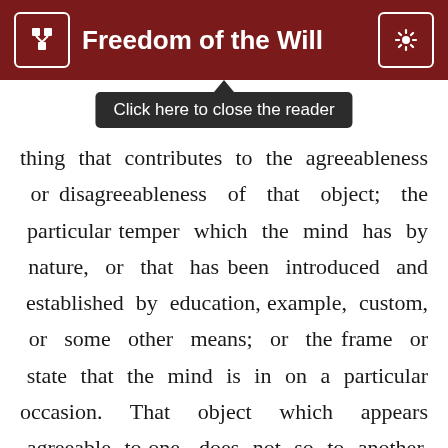Freedom of the Will
Click here to close the reader
thing that contributes to the agreeableness or disagreeableness of that object; the particular temper which the mind has by nature, or that has been introduced and established by education, example, custom, or some other means; or the frame or state that the mind is in on a particular occasion. That object which appears agreeable to one, does not so to another. And the same object does not always appear alike agreeable to the same person, at different times. It is most agreeable to some men, to follow their reason; and to others, to follow their appetites: to some men, it is more